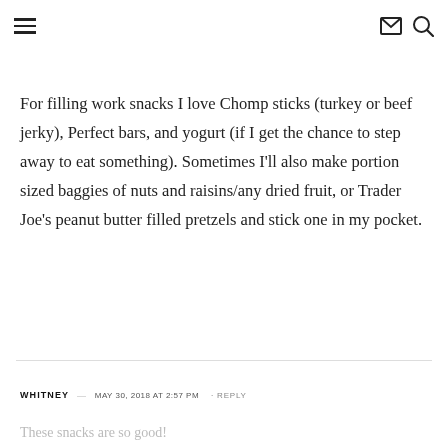≡ [mail icon] [search icon]
For filling work snacks I love Chomp sticks (turkey or beef jerky), Perfect bars, and yogurt (if I get the chance to step away to eat something). Sometimes I'll also make portion sized baggies of nuts and raisins/any dried fruit, or Trader Joe's peanut butter filled pretzels and stick one in my pocket.
WHITNEY — MAY 30, 2018 AT 2:57 PM · REPLY
These snacks are so good!